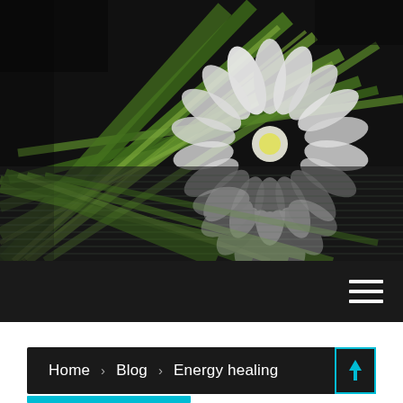[Figure (photo): Close-up photo of a white lotus flower with green palm-like leaves in the background, reflected in water below. Dark/black background. The image is mirrored vertically at the waterline creating a reflection effect.]
≡ (hamburger menu icon)
Home › Blog › Energy healing